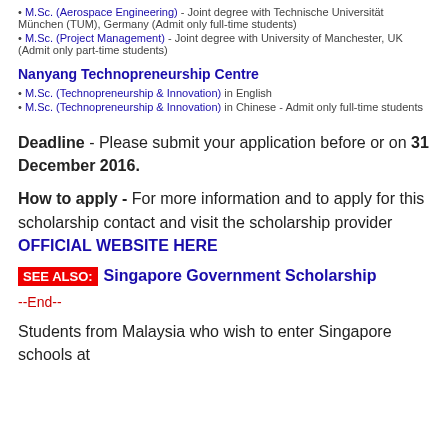M.Sc. (Aerospace Engineering) - Joint degree with Technische Universität München (TUM), Germany (Admit only full-time students)
M.Sc. (Project Management) - Joint degree with University of Manchester, UK (Admit only part-time students)
Nanyang Technopreneurship Centre
M.Sc. (Technopreneurship & Innovation) in English
M.Sc. (Technopreneurship & Innovation) in Chinese - Admit only full-time students
Deadline - Please submit your application before or on 31 December 2016.
How to apply - For more information and to apply for this scholarship contact and visit the scholarship provider OFFICIAL WEBSITE HERE
SEE ALSO: Singapore Government Scholarship
--End--
Students from Malaysia who wish to enter Singapore schools at